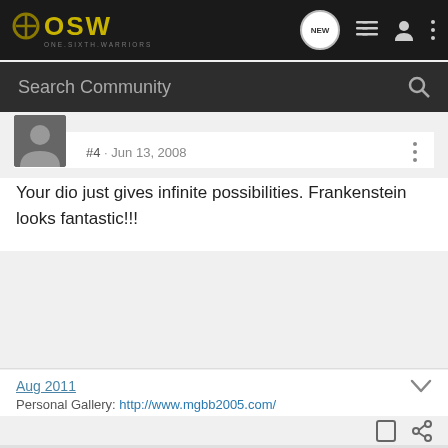OSW ONE.SIXTH.WARRIORS
Search Community
#4 · Jun 13, 2008
Your dio just gives infinite possibilities. Frankenstein looks fantastic!!!
Aug 2011
Personal Gallery: http://www.mgbb2005.com/